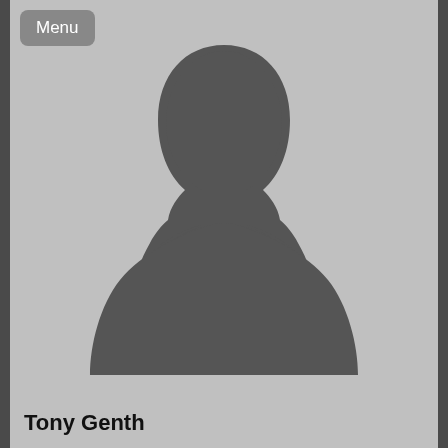[Figure (photo): Default silhouette profile photo showing a generic male bust/head shape in dark gray against a light gray background]
Menu
Tony Genth